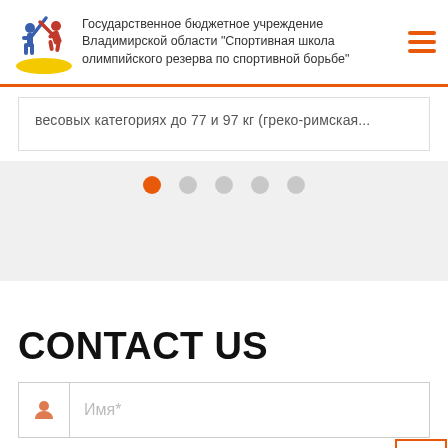Государственное бюджетное учреждение Владимирской области "Спортивная школа олимпийского резерва по спортивной борьбе"
весовых категориях до 77 и 97 кг (греко-римская...
[Figure (other): Dot pagination indicator with 5 dots, first dot active (orange), rest gray]
CONTACT US
Имя*